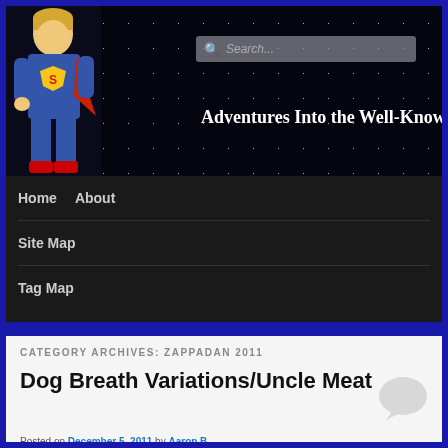[Figure (screenshot): Website header with starfield background showing a child dressed as Superman on the left side]
Adventures Into the Well-Known
Home   About   Site Map   Tag Map
CATEGORY ARCHIVES: ZAPPADAN 2011
Dog Breath Variations/Uncle Meat
Posted on December 5, 2011 by Aaron B.